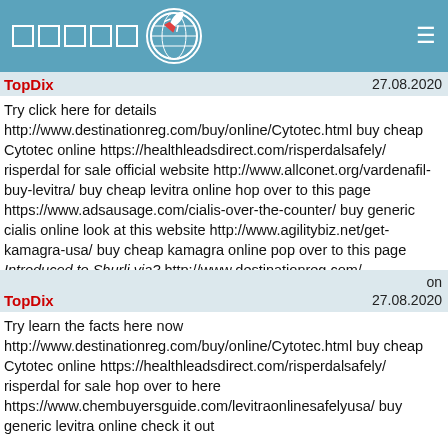TopDix [logo squares] [globe icon] [hamburger menu]
TopDix  27.08.2020
Try click here for details http://www.destinationreg.com/buy/online/Cytotec.html buy cheap Cytotec online https://healthleadsdirect.com/risperdalsafely/ risperdal for sale official website http://www.allconet.org/vardenafil-buy-levitra/ buy cheap levitra online hop over to this page https://www.adsausage.com/cialis-over-the-counter/ buy generic cialis online look at this website http://www.agilitybiz.net/get-kamagra-usa/ buy cheap kamagra online pop over to this page Introduced to Shurli via? http://www.destinationreg.com/
TopDix  on 27.08.2020
Try learn the facts here now http://www.destinationreg.com/buy/online/Cytotec.html buy cheap Cytotec online https://healthleadsdirect.com/risperdalsafely/ risperdal for sale hop over to here https://www.chembuyersguide.com/levitraonlinesafelyusa/ buy generic levitra online check it out